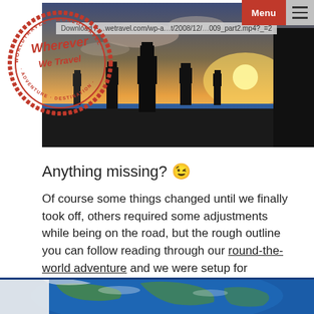[Figure (screenshot): Website screenshot showing a travel blog page with Easter Island moai silhouettes at sunset, a 'Wherever We Travel' stamp/logo overlay, a navigation menu bar with red Menu button, and a download bar showing a URL.]
Anything missing? 😉
Of course some things changed until we finally took off, others required some adjustments while being on the road, but the rough outline you can follow reading through our round-the-world adventure and we were setup for planning on of our biggest adventures
[Figure (photo): Partial bottom strip showing a satellite/aerial view of Earth (blue globe with land masses visible).]